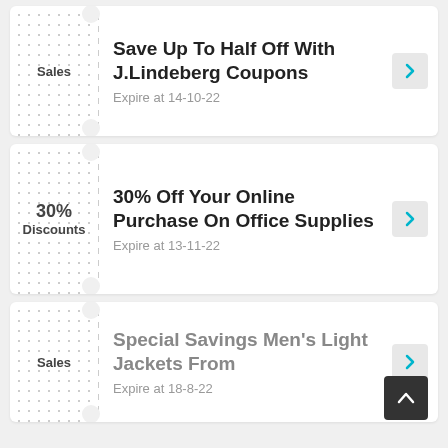[Figure (infographic): Coupon card 1: Sales label on left with dot pattern, title 'Save Up To Half Off With J.Lindeberg Coupons', expire date 14-10-22, teal arrow button on right]
[Figure (infographic): Coupon card 2: 30% Discounts label on left with dot pattern, title '30% Off Your Online Purchase On Office Supplies', expire date 13-11-22, teal arrow button on right]
[Figure (infographic): Coupon card 3 (partial): Sales label on left with dot pattern, title 'Special Savings Men's Light Jackets From', expire date 18-8-22, teal arrow button on right, scroll-to-top button overlay]